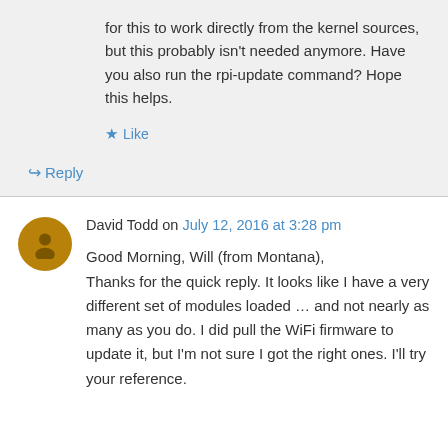for this to work directly from the kernel sources, but this probably isn't needed anymore. Have you also run the rpi-update command? Hope this helps.
★ Like
↳ Reply
David Todd on July 12, 2016 at 3:28 pm
Good Morning, Will (from Montana),
Thanks for the quick reply. It looks like I have a very different set of modules loaded … and not nearly as many as you do. I did pull the WiFi firmware to update it, but I'm not sure I got the right ones. I'll try your reference.